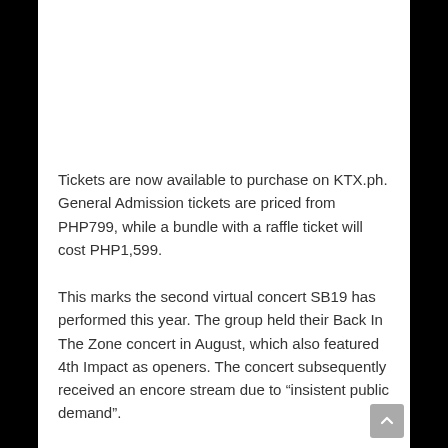Tickets are now available to purchase on KTX.ph. General Admission tickets are priced from PHP799, while a bundle with a raffle ticket will cost PHP1,599.
This marks the second virtual concert SB19 has performed this year. The group held their Back In The Zone concert in August, which also featured 4th Impact as openers. The concert subsequently received an encore stream due to “insistent public demand”.